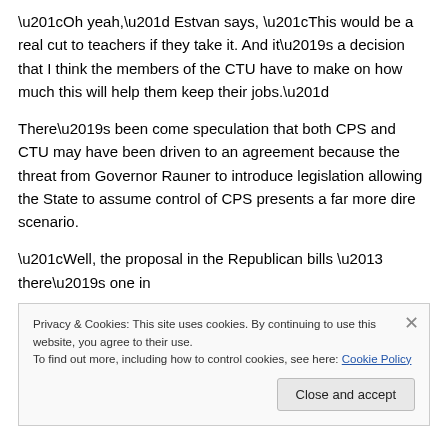“Oh yeah,” Estvan says, “This would be a real cut to teachers if they take it. And it’s a decision that I think the members of the CTU have to make on how much this will help them keep their jobs.”
There’s been come speculation that both CPS and CTU may have been driven to an agreement because the threat from Governor Rauner to introduce legislation allowing the State to assume control of CPS presents a far more dire scenario.
“Well, the proposal in the Republican bills – there’s one in
Privacy & Cookies: This site uses cookies. By continuing to use this website, you agree to their use.
To find out more, including how to control cookies, see here: Cookie Policy
Close and accept